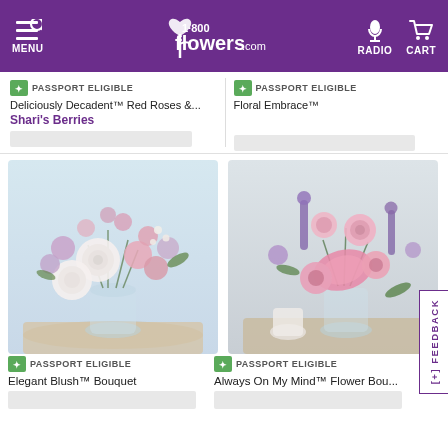1-800-Flowers.com — MENU, RADIO, CART
PASSPORT ELIGIBLE — Deliciously Decadent™ Red Roses &... Shari's Berries
PASSPORT ELIGIBLE — Floral Embrace™
[Figure (photo): Elegant Blush bouquet with white roses and pink flowers in a glass vase]
PASSPORT ELIGIBLE — Elegant Blush™ Bouquet
[Figure (photo): Always On My Mind flower bouquet with pink lilies, roses, and purple flowers in a glass vase]
PASSPORT ELIGIBLE — Always On My Mind™ Flower Bouq...